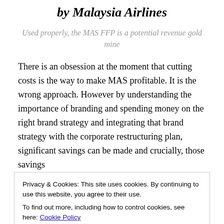by Malaysia Airlines
Used properly, the MAS FFP is a potential revenue gold mine
There is an obsession at the moment that cutting costs is the way to make MAS profitable. It is the wrong approach. However by understanding the importance of branding and spending money on the right brand strategy and integrating that brand strategy with the corporate restructuring plan, significant savings can be made and crucially, those savings
Privacy & Cookies: This site uses cookies. By continuing to use this website, you agree to their use.
To find out more, including how to control cookies, see here: Cookie Policy
Sponsored Content